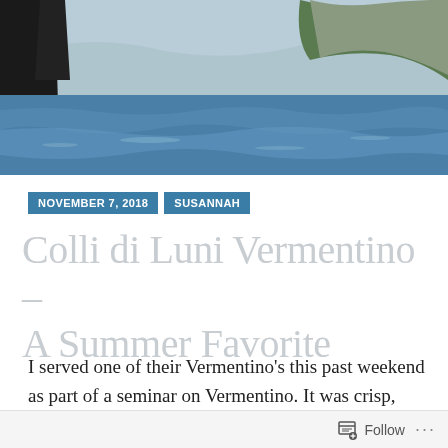[Figure (photo): Photograph of a coastal scene with blue sea water, rocky cliffs with green vegetation, and mountains in the background under a hazy sky. A dark boat structure is partially visible at the left edge.]
NOVEMBER 7, 2018   SUSANNAH
Colli di Luni Vermentino – A Summer Favorite
I served one of their Vermentino's this past weekend as part of a seminar on Vermentino. It was crisp, refreshing and filled with beautiful
Follow ...